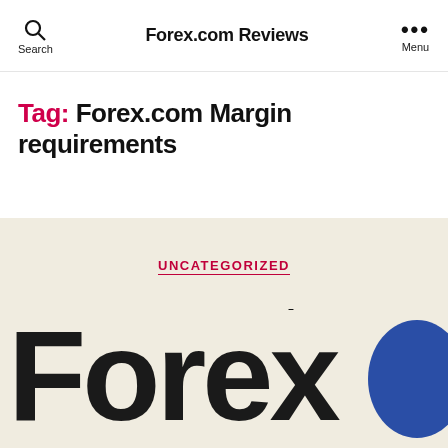Forex.com Reviews
Tag: Forex.com Margin requirements
UNCATEGORIZED
Forex.com Margin
[Figure (logo): Large bold 'Forex' text logo in dark color with a partial blue circle on the right, displayed on a beige/cream background]